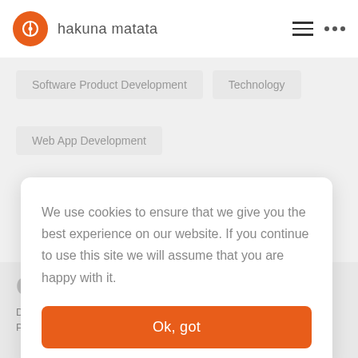hakuna matata
Software Product Development
Technology
Web App Development
We use cookies to ensure that we give you the best experience on our website. If you continue to use this site we will assume that you are happy with it.
Ok, got
Digital Transformation
Product Engineering